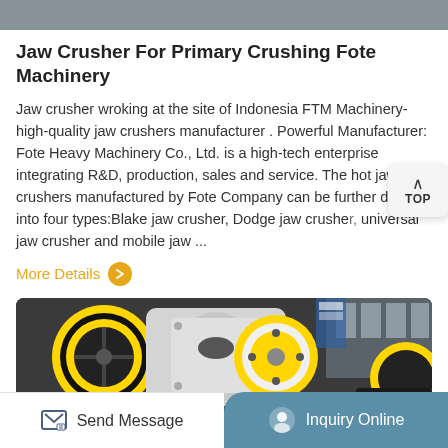[Figure (photo): Top portion of jaw crusher machinery photo, partially visible]
Jaw Crusher For Primary Crushing Fote Machinery
Jaw crusher wroking at the site of Indonesia FTM Machinery- high-quality jaw crushers manufacturer . Powerful Manufacturer: Fote Heavy Machinery Co., Ltd. is a high-tech enterprise integrating R&D, production, sales and service. The hot jaw crushers manufactured by Fote Company can be further divided into four types:Blake jaw crusher, Dodge jaw crusher, universal jaw crusher and mobile jaw ...
More Details
[Figure (photo): Industrial jaw crusher components showing large yellow and black flywheels/wheels in a factory setting]
Send Message   Inquiry Online